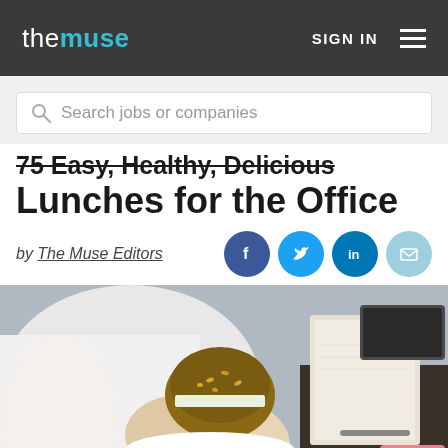the muse | SIGN IN
Search jobs or companies
75 Easy, Healthy, Delicious Lunches for the Office
by The Muse Editors
[Figure (photo): Person in white shirt holding a sandwich at a desk with a notebook and phone nearby]